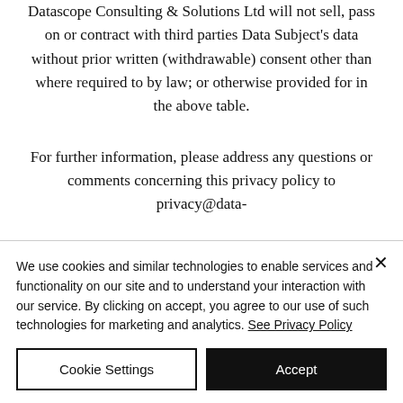Datascope Consulting & Solutions Ltd will not sell, pass on or contract with third parties Data Subject's data without prior written (withdrawable) consent other than where required to by law; or otherwise provided for in the above table.
For further information, please address any questions or comments concerning this privacy policy to privacy@data-
We use cookies and similar technologies to enable services and functionality on our site and to understand your interaction with our service. By clicking on accept, you agree to our use of such technologies for marketing and analytics. See Privacy Policy
Cookie Settings
Accept